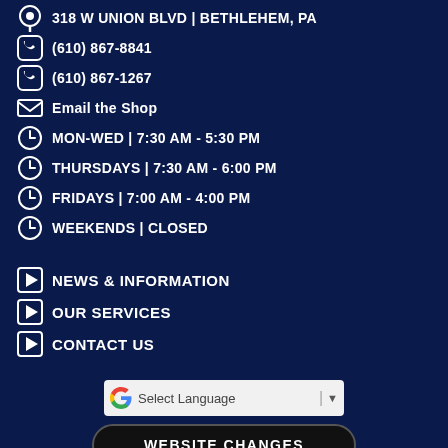318 W UNION BLVD | BETHLEHEM, PA
(610) 867-8841
(610) 867-1267
Email the Shop
MON-WED | 7:30 AM - 5:30 PM
THURSDAYS | 7:30 AM - 6:00 PM
FRIDAYS | 7:00 AM - 4:00 PM
WEEKENDS | CLOSED
NEWS & INFORMATION
OUR SERVICES
CONTACT US
Select Language
WEBSITE CHANGES